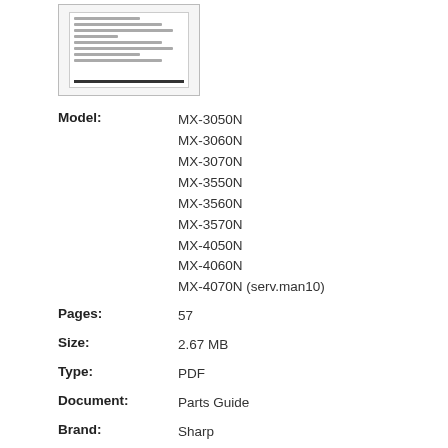[Figure (thumbnail): Thumbnail preview of the document page showing text content and a black bar at the bottom]
Model: MX-3050N
MX-3060N
MX-3070N
MX-3550N
MX-3560N
MX-3570N
MX-4050N
MX-4060N
MX-4070N (serv.man10)
Pages: 57
Size: 2.67 MB
Type: PDF
Document: Parts Guide
Brand: Sharp
Device: Copying Equipment / PWB Parts Guide for models with the V suffix.
File: mx-3050n-mx-3060n-mx-3070n-mx-3550n-mx-